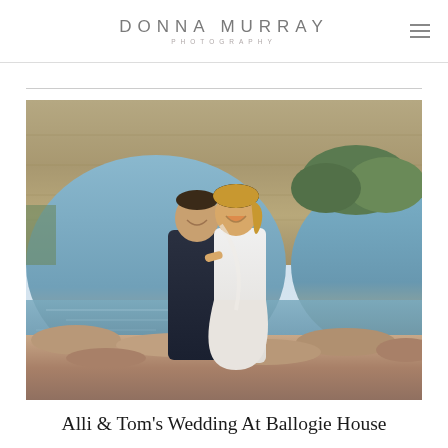DONNA MURRAY PHOTOGRAPHY
[Figure (photo): Wedding couple standing beneath a large stone arched bridge by a river, the groom in a dark suit and bride in a white dress laughing together, with green countryside in the background.]
Alli & Tom's Wedding At Ballogie House